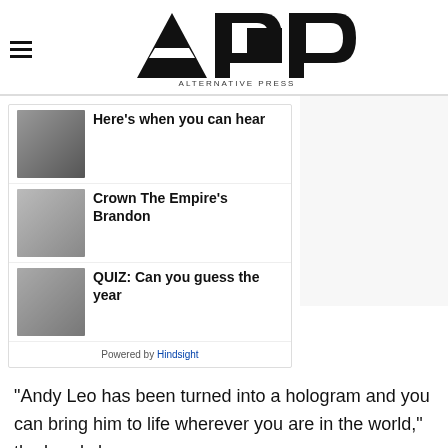AP ALTERNATIVE PRESS
Here's when you can hear
Crown The Empire's Brandon
QUIZ: Can you guess the year
Powered by Hindsight
"Andy Leo has been turned into a hologram and you can bring him to life wherever you are in the world," the band share.
Through Jadu, fans can perform Crown The Empire's song